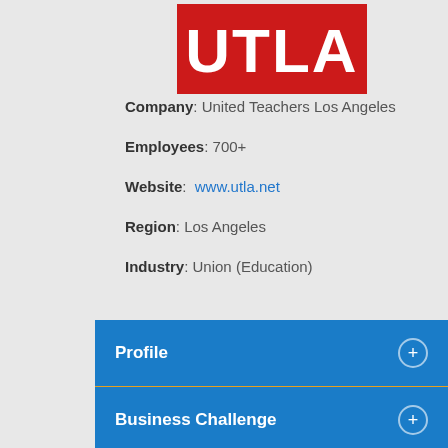[Figure (logo): UTLA logo — bold white letters on a red background rectangle]
Company: United Teachers Los Angeles
Employees: 700+
Website: www.utla.net
Region: Los Angeles
Industry: Union (Education)
Profile
Business Challenge